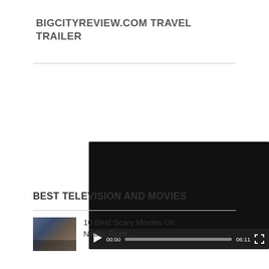BIGCITYREVIEW.COM TRAVEL TRAILER
[Figure (screenshot): Embedded video player showing a dark/black video frame with playback controls at the bottom: play button, time 00:00, progress bar, duration 06:11, and fullscreen icon.]
BEST TELEVISION AND MOVIES
10 Best Scary Movies On Netflix Right ...